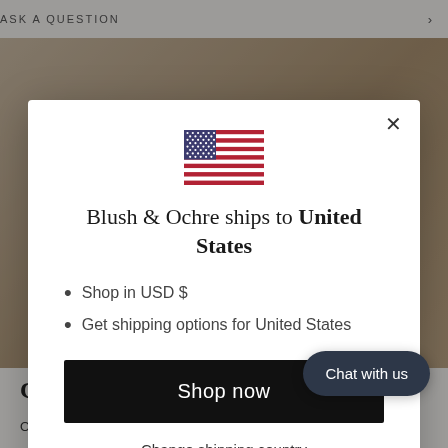ASK A QUESTION
[Figure (screenshot): Background showing a blurred Moroccan rug product page]
Blush & Ochre ships to United States
Shop in USD $
Get shipping options for United States
Shop now
Change shipping country
Chat with us
Character and Ch…
Our beautiful vintage Moroccan rugs instantly add